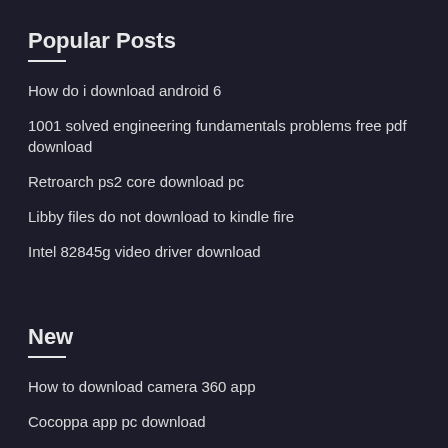Popular Posts
How do i download android 6
1001 solved engineering fundamentals problems free pdf download
Retroarch ps2 core download pc
Libby files do not download to kindle fire
Intel 82845g video driver download
New
How to download camera 360 app
Cocoppa app pc download
How change what open a downloaded file samsung
Where to download facebook logo
Murder on the links pdf free download